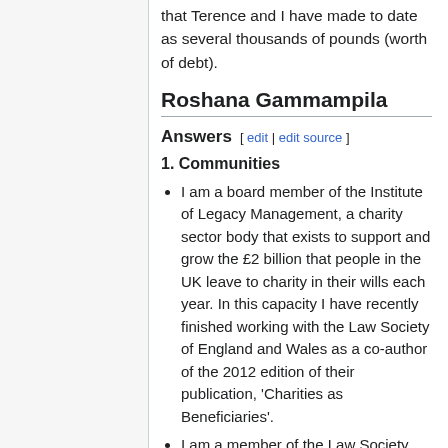that Terence and I have made to date as several thousands of pounds (worth of debt).
Roshana Gammampila
Answers [ edit | edit source ]
1. Communities
I am a board member of the Institute of Legacy Management, a charity sector body that exists to support and grow the £2 billion that people in the UK leave to charity in their wills each year. In this capacity I have recently finished working with the Law Society of England and Wales as a co-author of the 2012 edition of their publication, 'Charities as Beneficiaries'.
I am a member of the Law Society